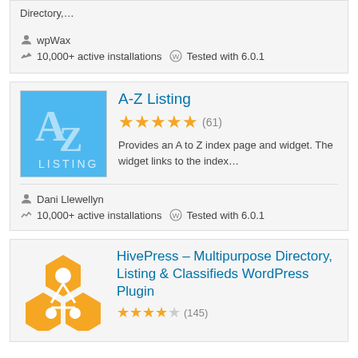Directory,...
wpWax
10,000+ active installations  Tested with 6.0.1
[Figure (logo): A-Z Listing plugin logo: blue square with large A-Z letters and 'LISTING' text in white]
A-Z Listing
★★★★★ (61)
Provides an A to Z index page and widget. The widget links to the index…
Dani Llewellyn
10,000+ active installations  Tested with 6.0.1
[Figure (logo): HivePress plugin logo: golden honeycomb/flower icon]
HivePress – Multipurpose Directory, Listing & Classifieds WordPress Plugin
★★★★★ (145)